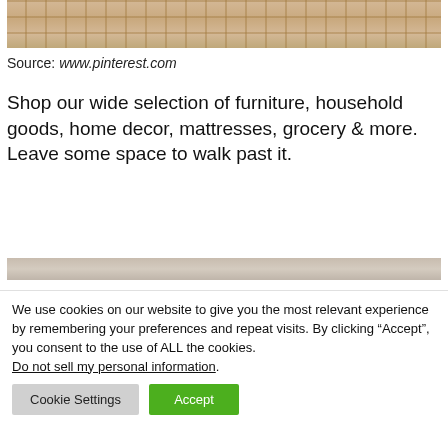[Figure (photo): Partial view of a woven/textured beige rug or floor covering, with geometric grid pattern visible]
Source: www.pinterest.com
Shop our wide selection of furniture, household goods, home decor, mattresses, grocery & more. Leave some space to walk past it.
[Figure (photo): Partial view of a beige/taupe surface, appears to be another rug or furniture piece]
We use cookies on our website to give you the most relevant experience by remembering your preferences and repeat visits. By clicking “Accept”, you consent to the use of ALL the cookies.
Do not sell my personal information.